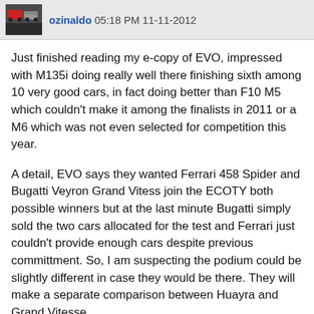ozinaldo 05:18 PM 11-11-2012
Just finished reading my e-copy of EVO, impressed with M135i doing really well there finishing sixth among 10 very good cars, in fact doing better than F10 M5 which couldn't make it among the finalists in 2011 or a M6 which was not even selected for competition this year.
A detail, EVO says they wanted Ferrari 458 Spider and Bugatti Veyron Grand Vitess join the ECOTY both possible winners but at the last minute Bugatti simply sold the two cars allocated for the test and Ferrari just couldn't provide enough cars despite previous committment. So, I am suspecting the podium could be slightly different in case they would be there. They will make a separate comparison between Huayra and Grand Vitesse.
1M was third at last year's ECOTY, only a few points behind McLaren MP4-12C and the winner Porsche 911